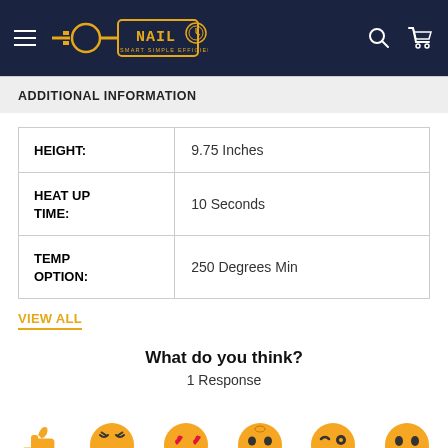e-NAIL header navigation
ADDITIONAL INFORMATION
| HEIGHT: | 9.75 Inches |
| HEAT UP TIME: | 10 Seconds |
| TEMP OPTION: | 250 Degrees Min |
VIEW ALL
What do you think?
1 Response
[Figure (illustration): Row of emoji reaction faces partially visible at bottom: thumbs up, angry squint, heart eyes, surprised, winking/sleepy, and neutral face]